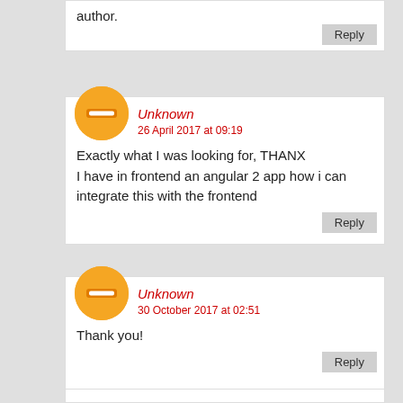author.
Unknown
26 April 2017 at 09:19
Exactly what I was looking for, THANX I have in frontend an angular 2 app how i can integrate this with the frontend
Unknown
30 October 2017 at 02:51
Thank you!